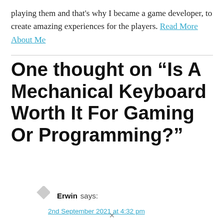playing them and that's why I became a game developer, to create amazing experiences for the players. Read More About Me
One thought on “Is A Mechanical Keyboard Worth It For Gaming Or Programming?”
Erwin says:
2nd September 2021 at 4:32 pm